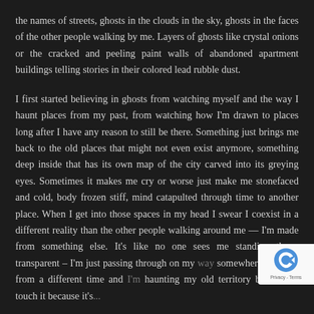the names of streets, ghosts in the clouds in the sky, ghosts in the faces of the other people walking by me. Layers of ghosts like crystal onions or the cracked and peeling paint walls of abandoned apartment buildings telling stories in their colored lead rubble dust.
I first started believing in ghosts from watching myself and the way I haunt places from my past, from watching how I'm drawn to places long after I have any reason to still be there. Something just brings me back to the old places that might not even exist anymore, something deep inside that has its own map of the city carved into its greying eyes. Sometimes it makes me cry or worse just make me stonefaced and cold, body frozen stiff, mind catapulted through time to another place. When I get into those spaces in my head I swear I coexist in a different reality than the other people walking around me — I'm made from something else. It's like no one sees me standing th... transparent – I'm just passing through on my ... somewhere else. I'm from a different time and l... haunting my old territory but I can't touch it because it's...